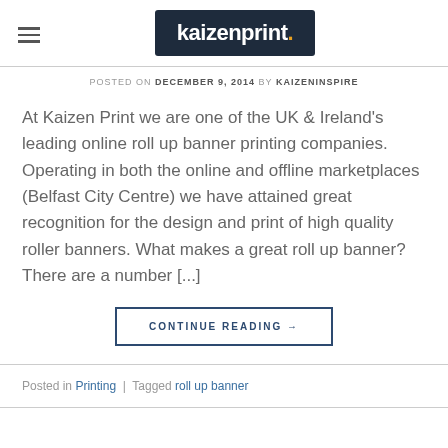kaizenprint.
POSTED ON DECEMBER 9, 2014 BY KAIZENINSPIRE
At Kaizen Print we are one of the UK & Ireland's leading online roll up banner printing companies. Operating in both the online and offline marketplaces (Belfast City Centre) we have attained great recognition for the design and print of high quality roller banners. What makes a great roll up banner? There are a number [...]
CONTINUE READING →
Posted in Printing | Tagged roll up banner